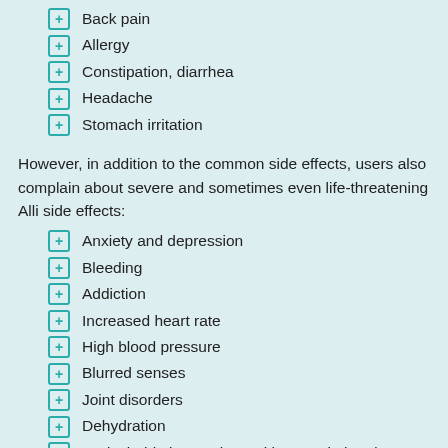Back pain
Allergy
Constipation, diarrhea
Headache
Stomach irritation
However, in addition to the common side effects, users also complain about severe and sometimes even life-threatening Alli side effects:
Anxiety and depression
Bleeding
Addiction
Increased heart rate
High blood pressure
Blurred senses
Joint disorders
Dehydration
Undesirable interactions with prescription drugs
Alli success rate is 67% which means that 67 out of 100 users